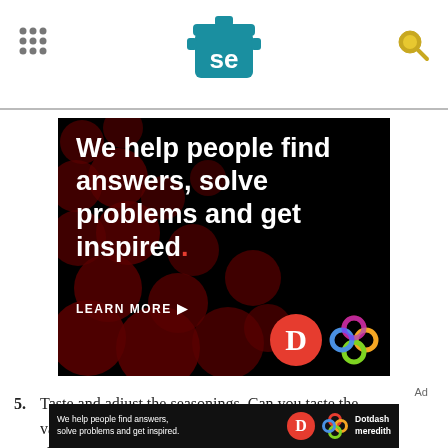SE (Serious Eats) website header with navigation dots, logo, and search icon
[Figure (infographic): Black advertisement banner with dark red dot pattern background. Large white bold text reads 'We help people find answers, solve problems and get inspired.' with a red period. Below: 'LEARN MORE' with arrow, Dotdash 'D' logo in red circle, and Dotdash Meredith colorful knot logo.]
5. Taste and adjust the seasonings. Can you taste the various herbs and spices? The chocolate? The chiles? Is there a bit of acid and enough
[Figure (infographic): Bottom advertisement bar: black background with text 'We help people find answers, solve problems and get inspired.' Dotdash D logo in red circle, colorful Dotdash Meredith logo, and 'Dotdash meredith' text in white.]